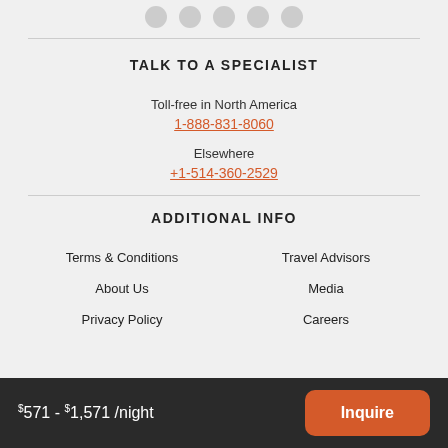[Figure (other): Social media icons (Facebook, Twitter, LinkedIn, Pinterest, Email) partially visible at top]
TALK TO A SPECIALIST
Toll-free in North America
1-888-831-8060
Elsewhere
+1-514-360-2529
ADDITIONAL INFO
Terms & Conditions
Travel Advisors
About Us
Media
Privacy Policy
Careers
$571 - $1,571 /night   Inquire